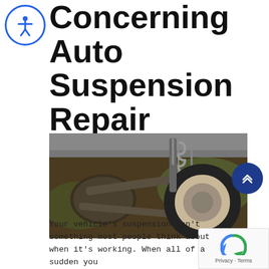Concerning Auto Suspension Repair
[Figure (photo): Undercarriage view of a vehicle suspension system showing control arms, coil spring, shock absorber, and wheel/tire assembly]
Your vehicle's suspension isn't something most people think about when it's working. When all of a sudden you